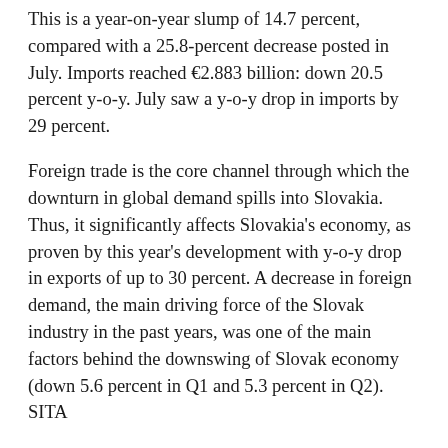This is a year-on-year slump of 14.7 percent, compared with a 25.8-percent decrease posted in July. Imports reached €2.883 billion: down 20.5 percent y-o-y. July saw a y-o-y drop in imports by 29 percent.
Foreign trade is the core channel through which the downturn in global demand spills into Slovakia. Thus, it significantly affects Slovakia's economy, as proven by this year's development with y-o-y drop in exports of up to 30 percent. A decrease in foreign demand, the main driving force of the Slovak industry in the past years, was one of the main factors behind the downswing of Slovak economy (down 5.6 percent in Q1 and 5.3 percent in Q2). SITA
Compiled by Jana Liptáková from press reports
The Slovak Spectator cannot vouch for the accuracy of the information presented in its Flash News postings.